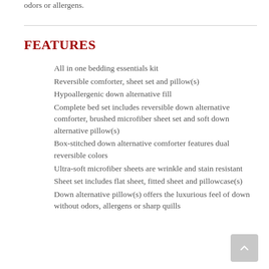odors or allergens.
FEATURES
All in one bedding essentials kit
Reversible comforter, sheet set and pillow(s)
Hypoallergenic down alternative fill
Complete bed set includes reversible down alternative comforter, brushed microfiber sheet set and soft down alternative pillow(s)
Box-stitched down alternative comforter features dual reversible colors
Ultra-soft microfiber sheets are wrinkle and stain resistant
Sheet set includes flat sheet, fitted sheet and pillowcase(s)
Down alternative pillow(s) offers the luxurious feel of down without odors, allergens or sharp quills